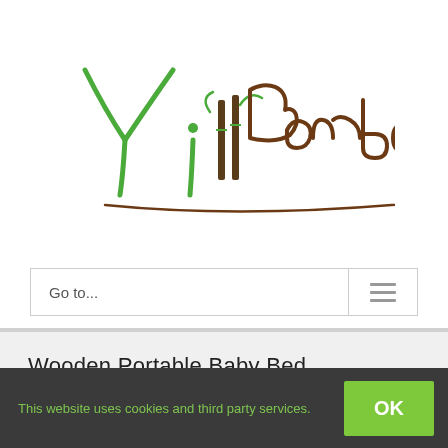[Figure (logo): Yi Bamboo logo with stylized green 'Yi' text and brown 'Bamboo' text with bamboo stalk illustration]
Go to...
Wooden Portable Baby Bed
This website uses cookies and third party services.